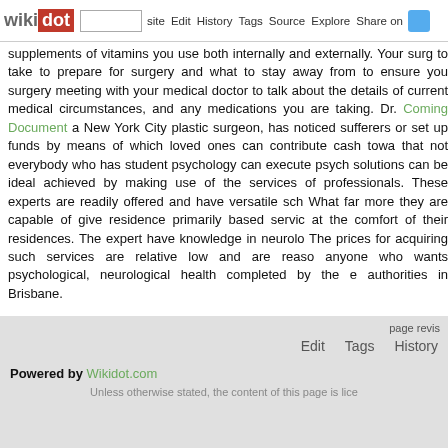wikidot | site | Edit | History | Tags | Source | Explore | Share on [Twitter]
supplements of vitamins you use both internally and externally. Your surg to take to prepare for surgery and what to stay away from to ensure you surgery meeting with your medical doctor to talk about the details of current medical circumstances, and any medications you are taking. Dr. Coming Document a New York City plastic surgeon, has noticed sufferers or set up funds by means of which loved ones can contribute cash towa that not everybody who has student psychology can execute psych solutions can be ideal achieved by making use of the services of professionals. These experts are readily offered and have versatile sch What far more they are capable of give residence primarily based servic at the comfort of their residences. The expert have knowledge in neurolo The prices for acquiring such services are relative low and are reaso anyone who wants psychological, neurological health completed by the e authorities in Brisbane.
Comments: 0
Add a New Comment
page revis | Edit | Tags | History
Powered by Wikidot.com
Unless otherwise stated, the content of this page is lice